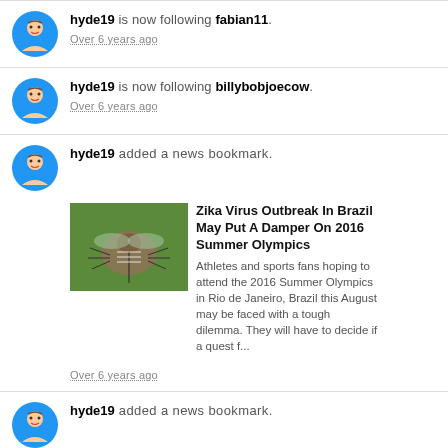hyde19 is now following fabian11. Over 6 years ago
hyde19 is now following billybobjoecow. Over 6 years ago
hyde19 added a news bookmark. Zika Virus Outbreak In Brazil May Put A Damper On 2016 Summer Olympics. Athletes and sports fans hoping to attend the 2016 Summer Olympics in Rio de Janeiro, Brazil this August may be faced with a tough dilemma. They will have to decide if a quest f... Over 6 years ago
hyde19 added a news bookmark. Wish To Build The Perfect Snowman? Pull Out Your Ruler! News flash: Everyone's favorite snowman, the...